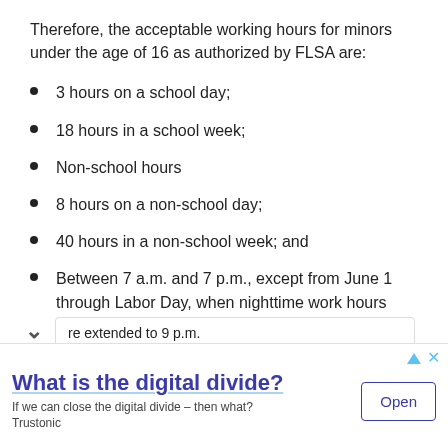Therefore, the acceptable working hours for minors under the age of 16 as authorized by FLSA are:
3 hours on a school day;
18 hours in a school week;
Non-school hours
8 hours on a non-school day;
40 hours in a non-school week; and
Between 7 a.m. and 7 p.m., except from June 1 through Labor Day, when nighttime work hours are extended to 9 p.m.
[Figure (screenshot): Advertisement banner: 'What is the digital divide?' with Open button, from Trustonic]